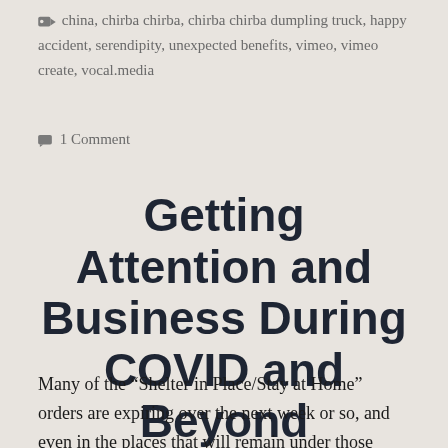china, chirba chirba, chirba chirba dumpling truck, happy accident, serendipity, unexpected benefits, vimeo, vimeo create, vocal.media
1 Comment
Getting Attention and Business During COVID and Beyond
Many of the “Shelter in Place/Stay at Home” orders are expiring over the next week or so, and even in the places that will remain under those orders